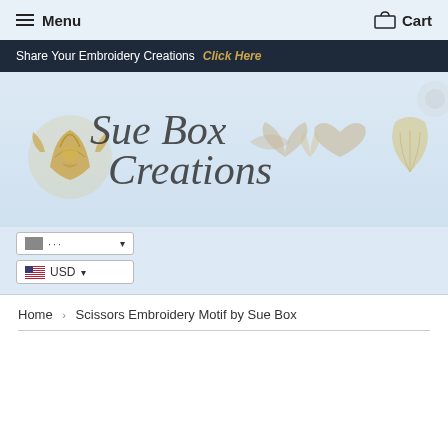Menu   Cart
Share Your Embroidery Creations Click Here
[Figure (logo): Sue Box Creations logo with gold ornamental emblem and decorative lace embroidery designs on light blue background]
... (language selector dropdown) USD (currency selector dropdown)
Home › Scissors Embroidery Motif by Sue Box